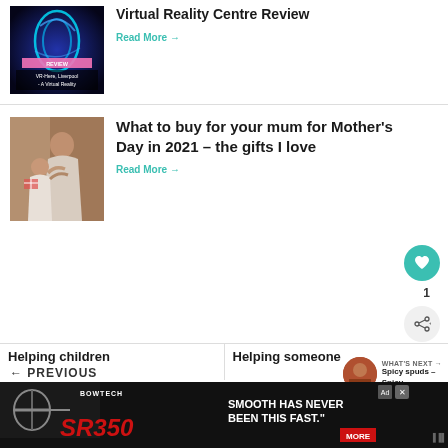[Figure (photo): Blue neon VR abstract image with REVIEW badge and VR-Here Liverpool label]
Virtual Reality Centre Review
Read More →
[Figure (photo): Mother and child hugging, child holding a gift with red ribbon]
What to buy for your mum for Mother's Day in 2021 – the gifts I love
Read More →
1
WHAT'S NEXT → Spicy spuds – Spicy...
← PREVIOUS
Helping children sl...
Helping someone ...ing over
[Figure (screenshot): Bowtech SR350 advertisement banner — SMOOTH HAS NEVER BEEN THIS FAST. MORE button]